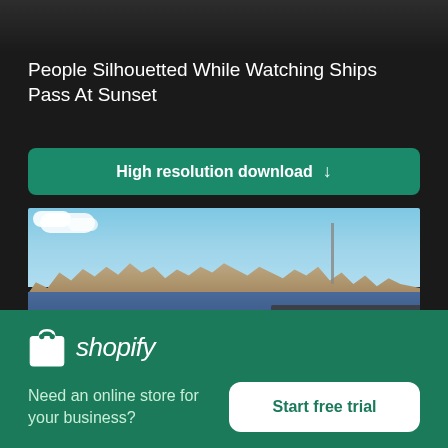[Figure (screenshot): Cropped top portion of a dark image showing silhouettes]
People Silhouetted While Watching Ships Pass At Sunset
[Figure (other): Green button labeled High resolution download with a downward arrow]
[Figure (photo): Photo of a waterfront city skyline across a body of water, with a person visible in the lower center, and a dock on the right]
[Figure (logo): Shopify logo - white shopping bag icon and shopify text in white italic on green background]
Need an online store for your business?
[Figure (other): White button labeled Start free trial in green text]